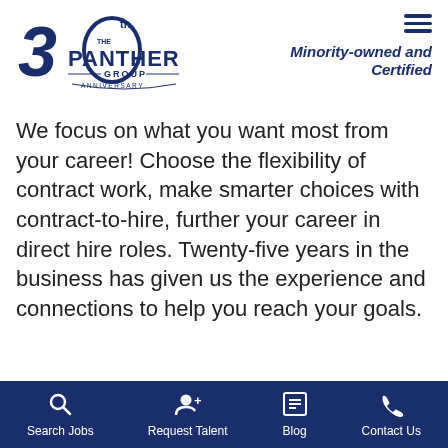[Figure (logo): The Panther Group 30th Anniversary logo in navy blue]
Minority-owned and Certified
We focus on what you want most from your career! Choose the flexibility of contract work, make smarter choices with contract-to-hire, further your career in direct hire roles. Twenty-five years in the business has given us the experience and connections to help you reach your goals.
Search Jobs | Request Talent | Blog | Contact Us